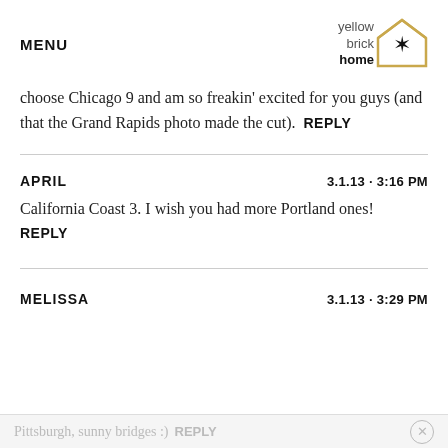MENU | yellow brick home (logo)
choose Chicago 9 and am so freakin' excited for you guys (and that the Grand Rapids photo made the cut). REPLY
APRIL  3.1.13 · 3:16 PM
California Coast 3. I wish you had more Portland ones! REPLY
MELISSA  3.1.13 · 3:29 PM
Pittsburgh, sunny bridges :) REPLY